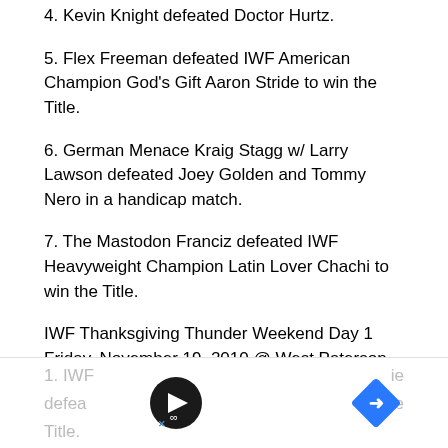4. Kevin Knight defeated Doctor Hurtz.
5. Flex Freeman defeated IWF American Champion God's Gift Aaron Stride to win the Title.
6. German Menace Kraig Stagg w/ Larry Lawson defeated Joey Golden and Tommy Nero in a handicap match.
7. The Mastodon Franciz defeated IWF Heavyweight Champion Latin Lover Chachi to win the Title.
IWF Thanksgiving Thunder Weekend Day 1
Friday, November 19, 2010 @ West Paterson, NJ
1. IWF … defeated … the Title.